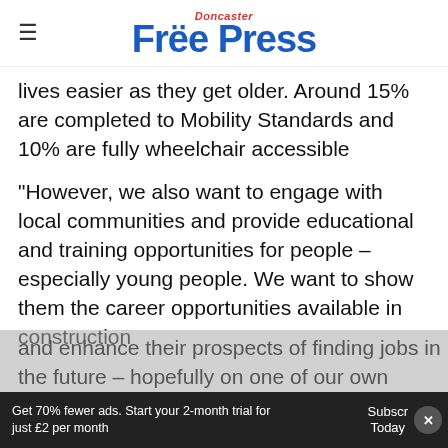Doncaster Free Press
lives easier as they get older. Around 15% are completed to Mobility Standards and 10% are fully wheelchair accessible
“However, we also want to engage with local communities and provide educational and training opportunities for people – especially young people. We want to show them the career opportunities available in construction and enhance their prospects of finding jobs in the future – hopefully on one of our own
Get 70% fewer ads. Start your 2-month trial for just £2 per month
Subscribe Today